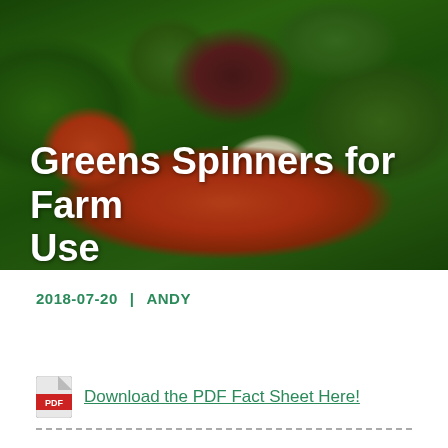[Figure (photo): Close-up photo of mixed salad greens with a red/orange colander, featuring a dark purple/red leaf (likely radicchio or red lettuce) prominently in the center, with a white handle visible. Background includes various green leafy vegetables.]
Greens Spinners for Farm Use
2018-07-20  |  ANDY
Download the PDF Fact Sheet Here!